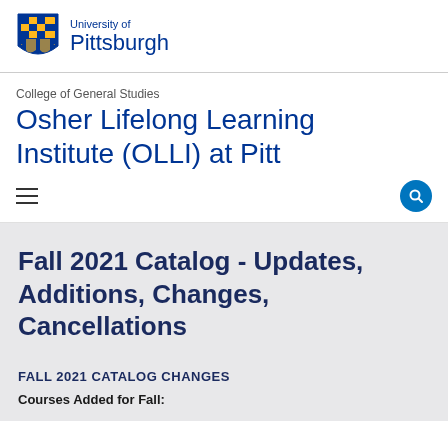[Figure (logo): University of Pittsburgh shield logo with blue and gold checkered pattern]
University of Pittsburgh
College of General Studies
Osher Lifelong Learning Institute (OLLI) at Pitt
Fall 2021 Catalog - Updates, Additions, Changes, Cancellations
FALL 2021 CATALOG CHANGES
Courses Added for Fall: